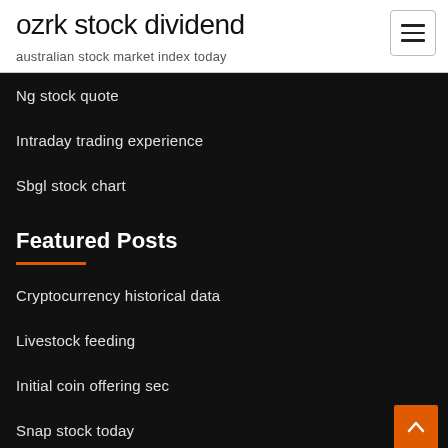ozrk stock dividend
australian stock market index today
Ng stock quote
Intraday trading experience
Sbgl stock chart
Featured Posts
Cryptocurrency historical data
Livestock feeding
Initial coin offering sec
Snap stock today
Bitcoin attack vectors